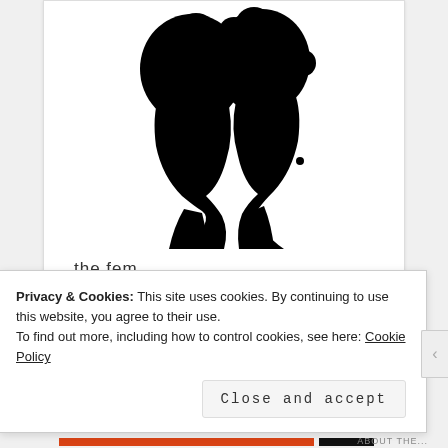[Figure (illustration): Two black silhouettes of human heads facing each other (profile views), with afro/natural hair styles, appearing to almost touch forehead to forehead. Below the silhouettes is the text 'the fem' in small lowercase serif-like font.]
the fem
SEARCH
Privacy & Cookies: This site uses cookies. By continuing to use this website, you agree to their use.
To find out more, including how to control cookies, see here: Cookie Policy
Close and accept